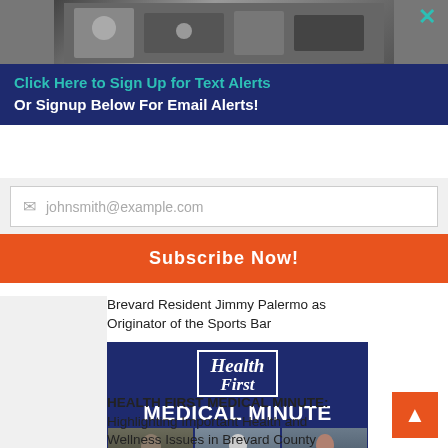[Figure (photo): Partial black and white photo at top of page, cropped]
Click Here to Sign Up for Text Alerts
Or Signup Below For Email Alerts!
johnsmith@example.com (email input placeholder)
Subscribe Now!
Brevard Resident Jimmy Palermo as Originator of the Sports Bar
[Figure (photo): Health First Medical Minute promotional image with logo, text MEDICAL MINUTE, and three doctor photos]
HEALTH FIRST MEDICAL MINUTE: Highlighting Important Health and Wellness Issues in Brevard County